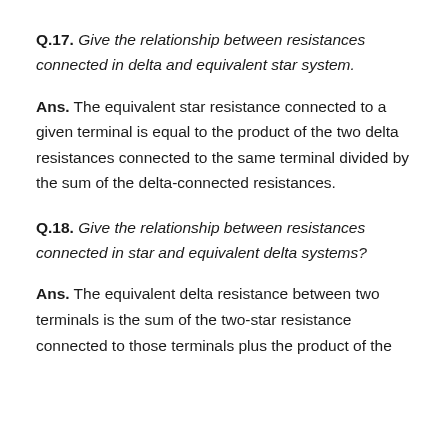Q.17. Give the relationship between resistances connected in delta and equivalent star system.
Ans. The equivalent star resistance connected to a given terminal is equal to the product of the two delta resistances connected to the same terminal divided by the sum of the delta-connected resistances.
Q.18. Give the relationship between resistances connected in star and equivalent delta systems?
Ans. The equivalent delta resistance between two terminals is the sum of the two-star resistance connected to those terminals plus the product of the